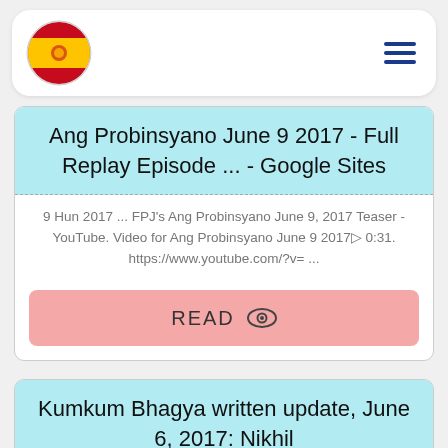[Figure (logo): Spain flag emoji in a circle, with hamburger menu icon on the right]
Ang Probinsyano June 9 2017 - Full Replay Episode ... - Google Sites
9 Hun 2017 ... FPJ's Ang Probinsyano June 9, 2017 Teaser - YouTube. Video for Ang Probinsyano June 9 2017▷ 0:31. https://www.youtube.com/?v= ...
READ 👁
Kumkum Bhagya written update, June 6, 2017: Nikhil